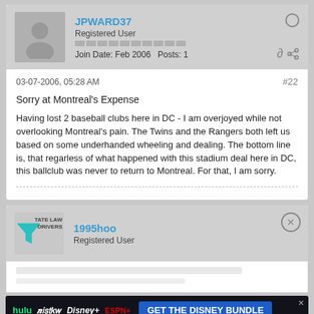JPWARD37
Registered User
Join Date: Feb 2006   Posts: 1
03-07-2006, 05:28 AM
#22
Sorry at Montreal's Expense
Having lost 2 baseball clubs here in DC - I am overjoyed while not overlooking Montreal's pain. The Twins and the Rangers both left us based on some underhanded wheeling and dealing. The bottom line is, that regarless of what happened with this stadium deal here in DC, this ballclub was never to return to Montreal. For that, I am sorry.
1995hoo
Registered User
[Figure (screenshot): Advertisement for Disney Bundle (Hulu, Disney+, ESPN+)]